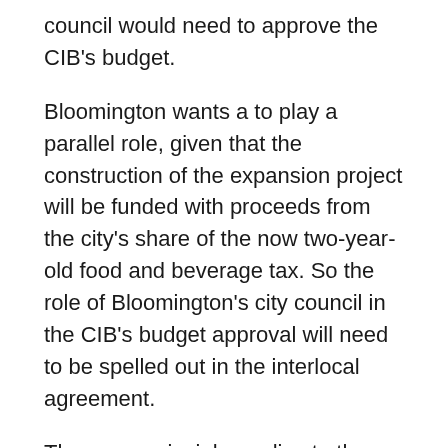council would need to approve the CIB's budget.
Bloomington wants a to play a parallel role, given that the construction of the expansion project will be funded with proceeds from the city's share of the now two-year-old food and beverage tax. So the role of Bloomington's city council in the CIB's budget approval will need to be spelled out in the interlocal agreement.
The same principle applies to the convention and visitors commission (CVC), which already exists and operates the current facility at College Avenue and 3rd Street with proceeds from the county's innkeeper's tax. Under the interlocal agreement, the CVC will have its budget approved by both the